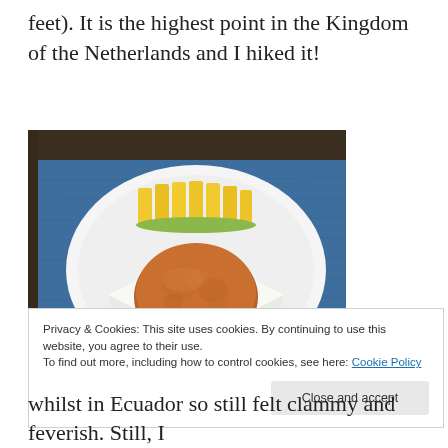feet). It is the highest point in the Kingdom of the Netherlands and I hiked it!
[Figure (photo): A white plate with sliced pineapple pieces arranged at the top and a round fried pastry (johnny cake or bake) wrapped in a white napkin, placed on a blue textured surface. Background shows a wooden table edge.]
Privacy & Cookies: This site uses cookies. By continuing to use this website, you agree to their use.
To find out more, including how to control cookies, see here: Cookie Policy
Close and accept
whilst in Ecuador so still felt clammy and feverish. Still, I